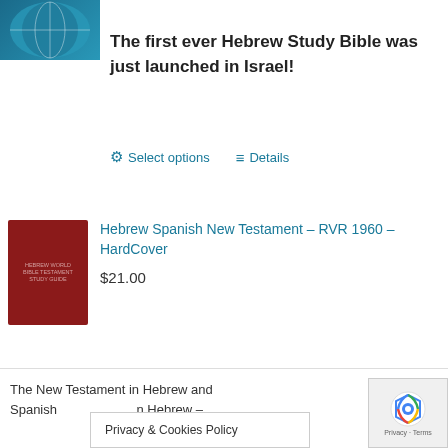[Figure (photo): Partial blue globe/book logo at top left corner]
The first ever Hebrew Study Bible was just launched in Israel!
⚙ Select options  ≡ Details
[Figure (photo): Dark red hardcover book - Hebrew Spanish New Testament RVR 1960]
Hebrew Spanish New Testament – RVR 1960 – HardCover
$21.00
The New Testament in Hebrew and Spanish
Privacy & Cookies Policy